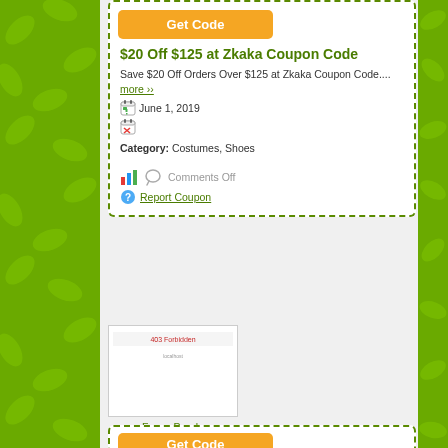Get Code
$20 Off $125 at Zkaka Coupon Code
Save $20 Off Orders Over $125 at Zkaka Coupon Code.... more ››
June 1, 2019
Category: Costumes, Shoes
Comments Off
Report Coupon
[Figure (screenshot): 403 Forbidden page screenshot thumbnail]
Fancy Panda
Get Code